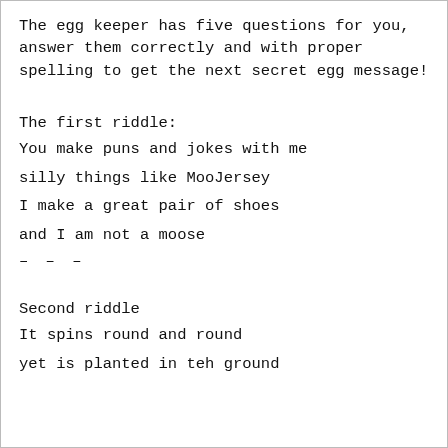The egg keeper has five questions for you, answer them correctly and with proper spelling to get the next secret egg message!
The first riddle:
You make puns and jokes with me
silly things like MooJersey
I make a great pair of shoes
and I am not a moose
– – –
Second riddle
It spins round and round
yet is planted in teh ground